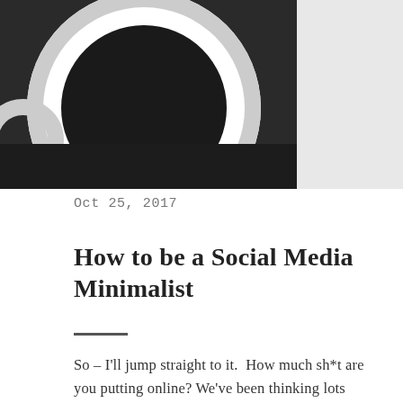[Figure (photo): Top portion of page showing a white coffee cup with black coffee on a dark saucer against a dark background, with a light grey area on the right side.]
Oct 25, 2017
How to be a Social Media Minimalist
So – I'll jump straight to it.  How much sh*t are you putting online? We've been thinking lots about minimalism, and the 'tidy desk – tidy